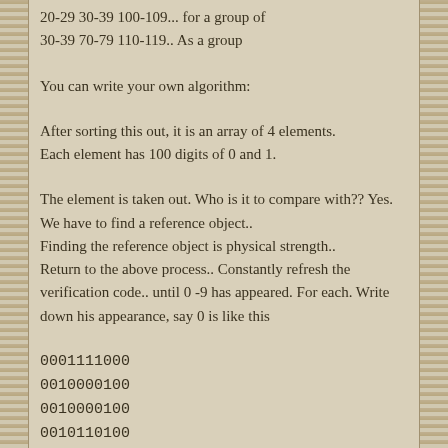20-29 30-39 100-109... for a group of 30-39 70-79 110-119.. As a group
You can write your own algorithm:
After sorting this out, it is an array of 4 elements.
Each element has 100 digits of 0 and 1.
The element is taken out. Who is it to compare with?? Yes. We have to find a reference object..
Finding the reference object is physical strength..
Return to the above process.. Constantly refresh the verification code.. until 0 -9 has appeared. For each. Write down his appearance, say 0 is like this
0001111000
0010000100
0010000100
0010110100
0010110100
0010110100
0010110100